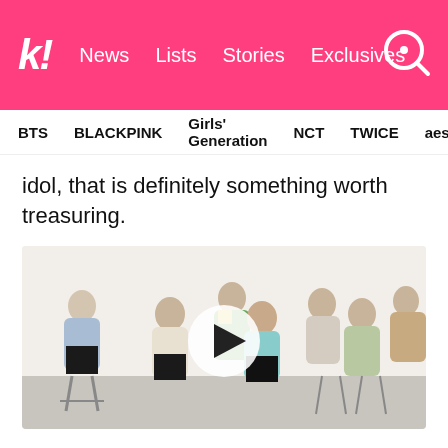k! News  Lists  Stories  Exclusives
BTS  BLACKPINK  Girls' Generation  NCT  TWICE  aespa
idol, that is definitely something worth treasuring.
[Figure (screenshot): Video thumbnail of BTS group members seated in a studio; play button overlay in center]
If you'd like to see the full clip you can do so on